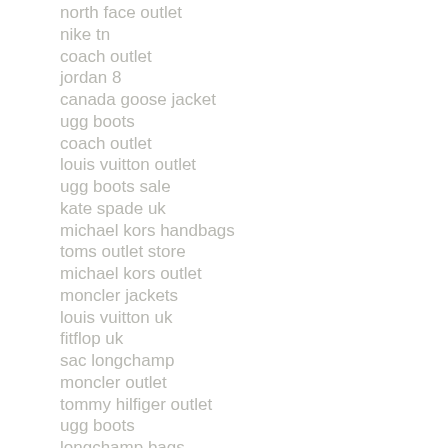north face outlet
nike tn
coach outlet
jordan 8
canada goose jacket
ugg boots
coach outlet
louis vuitton outlet
ugg boots sale
kate spade uk
michael kors handbags
toms outlet store
michael kors outlet
moncler jackets
louis vuitton uk
fitflop uk
sac longchamp
moncler outlet
tommy hilfiger outlet
ugg boots
longchamp bags
fitflops clearance
ray ban sunglasses